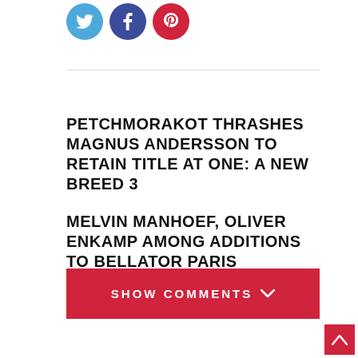[Figure (infographic): Three social media icon circles: Twitter (light blue), Facebook (dark blue), Pinterest (red)]
PETCHMORAKOT THRASHES MAGNUS ANDERSSON TO RETAIN TITLE AT ONE: A NEW BREED 3
MELVIN MANHOEF, OLIVER ENKAMP AMONG ADDITIONS TO BELLATOR PARIS
SHOW COMMENTS